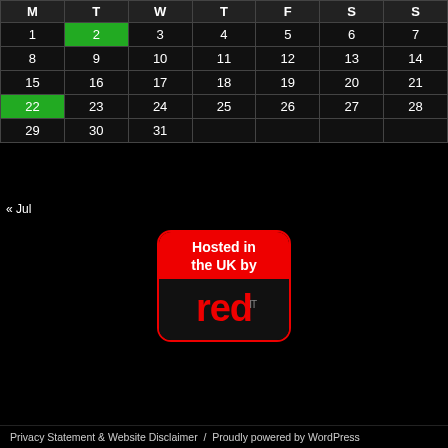| M | T | W | T | F | S | S |
| --- | --- | --- | --- | --- | --- | --- |
| 1 | 2 | 3 | 4 | 5 | 6 | 7 |
| 8 | 9 | 10 | 11 | 12 | 13 | 14 |
| 15 | 16 | 17 | 18 | 19 | 20 | 21 |
| 22 | 23 | 24 | 25 | 26 | 27 | 28 |
| 29 | 30 | 31 |  |  |  |  |
« Jul
[Figure (logo): Red IT UK hosting badge with 'Hosted in the UK by' text and red 'red IT' logo on black background]
Privacy Statement & Website Disclaimer  /  Proudly powered by WordPress